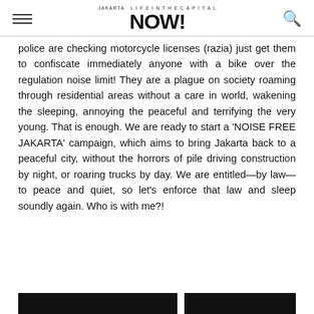Jakarta NOW!
police are checking motorcycle licenses (razia) just get them to confiscate immediately anyone with a bike over the regulation noise limit! They are a plague on society roaming through residential areas without a care in world, wakening the sleeping, annoying the peaceful and terrifying the very young. That is enough. We are ready to start a 'NOISE FREE JAKARTA' campaign, which aims to bring Jakarta back to a peaceful city, without the horrors of pile driving construction by night, or roaring trucks by day. We are entitled—by law—to peace and quiet, so let's enforce that law and sleep soundly again. Who is with me?!